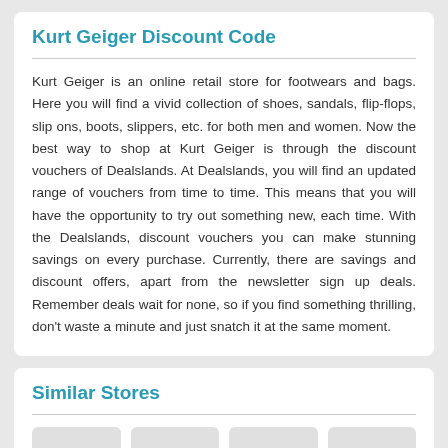Kurt Geiger Discount Code
Kurt Geiger is an online retail store for footwears and bags. Here you will find a vivid collection of shoes, sandals, flip-flops, slip ons, boots, slippers, etc. for both men and women. Now the best way to shop at Kurt Geiger is through the discount vouchers of Dealslands. At Dealslands, you will find an updated range of vouchers from time to time. This means that you will have the opportunity to try out something new, each time. With the Dealslands, discount vouchers you can make stunning savings on every purchase. Currently, there are savings and discount offers, apart from the newsletter sign up deals. Remember deals wait for none, so if you find something thrilling, don't waste a minute and just snatch it at the same moment.
Similar Stores